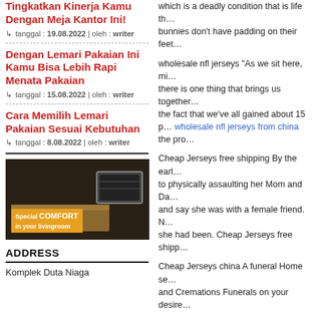Tingkatkan Kinerja Kamu Dengan Meja Kantor Ini!
tanggal : 19.08.2022 | oleh : writer
Dengan Lemari Pakaian Ini Kamu Bisa Lebih Rapi Menata Pakaian
tanggal : 15.08.2022 | oleh : writer
Cara Memilih Lemari Pakaian Sesuai Kebutuhan
tanggal : 8.08.2022 | oleh : writer
[Figure (photo): Furniture showroom promo image with TV and cabinet, text: Special COMFORT in your livingroom]
ADDRESS
Komplek Duta Niaga
which is a deadly condition that is life threatening. bunnies don't have padding on their feet
wholesale nfl jerseys "As we sit here, mi there is one thing that brings us together the fact that we've all gained about 15 p wholesale nfl jerseys from china the pro
Cheap Jerseys free shipping By the early to physically assaulting her Mom and Da and say she was with a female friend. N she had been. Cheap Jerseys free shipp
Cheap Jerseys china A funeral Home se and Cremations Funerals on your desire service provider through online research china.
[Figure (screenshot): Print button (green)]
[Figure (photo): LUNARSOL FURNITURE advertisement]
STAY CONNECTED
[Figure (logo): WhatsApp green circle icon]
[Figure (logo): Social media icons: Facebook, Twitter, Instagram]